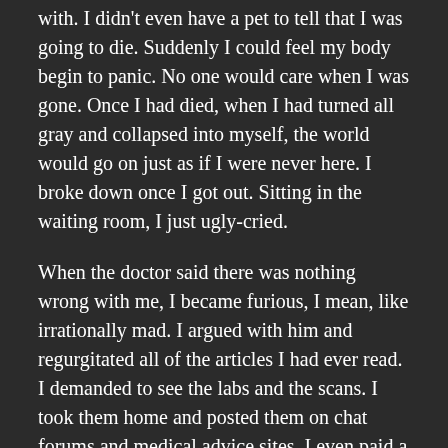with. I didn't even have a pet to tell that I was going to die. Suddenly I could feel my body begin to panic. No one would care when I was gone. Once I had died, when I had turned all gray and collapsed into myself, the world would go on just as if I were never here. I broke down once I got out. Sitting in the waiting room, I just ugly-cried.
When the doctor said there was nothing wrong with me, I became furious, I mean, like irrationally mad. I argued with him and regurgitated all of the articles I had ever read. I demanded to see the labs and the scans. I took them home and posted them on chat forums and medical advice sites. I even paid a private doctor to look them over just to see if anything had been missed. But everything was normal–actually, I was better than normal. With the exception of a higher-than-average BMI, I was as healthy as an ox. There was no explanation for the hum–I just kept